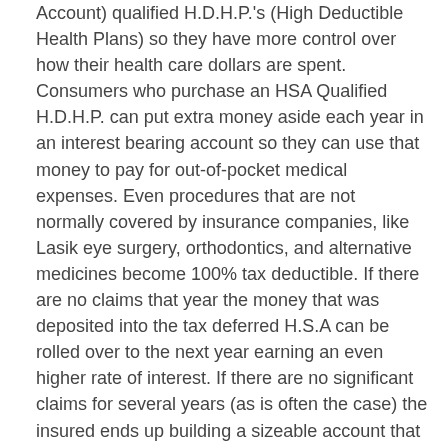Account) qualified H.D.H.P.'s (High Deductible Health Plans) so they have more control over how their health care dollars are spent. Consumers who purchase an HSA Qualified H.D.H.P. can put extra money aside each year in an interest bearing account so they can use that money to pay for out-of-pocket medical expenses. Even procedures that are not normally covered by insurance companies, like Lasik eye surgery, orthodontics, and alternative medicines become 100% tax deductible. If there are no claims that year the money that was deposited into the tax deferred H.S.A can be rolled over to the next year earning an even higher rate of interest. If there are no significant claims for several years (as is often the case) the insured ends up building a sizeable account that enjoys similar tax benefits as a traditional I.R.A. Most H.S.A. administrators now offer thousands of no load mutual funds to transfer your H.S.A. funds into so you can potentially earn an even higher rate of interest. In my experience, I believe that individuals who purchase their health plan based on wants rather than